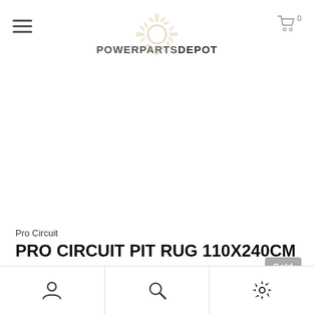PowerPartsDepot — hamburger menu, logo, cart (0)
[Figure (screenshot): Blank white product image area with no visible product (blurred/missing image)]
Pro Circuit
PRO CIRCUIT PIT RUG 110X240CM
$299.00
Sold
Bottom navigation bar with account, search, and settings icons